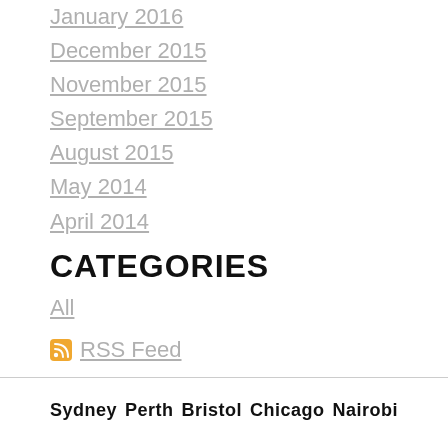January 2016
December 2015
November 2015
September 2015
August 2015
May 2014
April 2014
CATEGORIES
All
RSS Feed
Sydney   Perth   Bristol   Chicago   Nairobi
Home   About   Contact   Privacy   policy and other policies